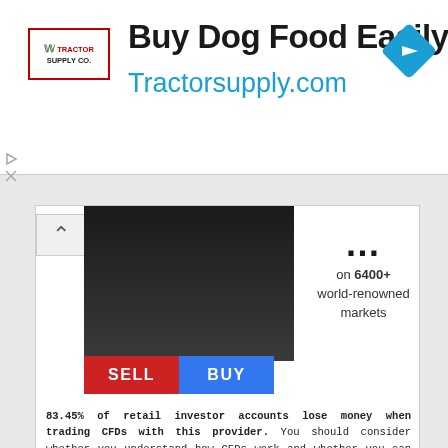[Figure (screenshot): Top advertisement banner for Tractor Supply Co. showing 'Buy Dog Food Easily Online' headline with Tractorsupply.com URL and a blue diamond navigation arrow icon on the right. Tractor Supply Co. logo on the left.]
[Figure (screenshot): Partially visible financial trading platform advertisement showing a dark phone/chart graphic, 'on 6400+ world-renowned markets' text, and red SELL / blue BUY buttons. Below is a risk disclaimer: '83.45% of retail investor accounts lose money when trading CFDs with this provider. You should consider whether you understand how CFDs work and whether you can afford to take the high risk of losing your money.']
[Figure (screenshot): Second advertisement placeholder box, mostly empty white area with ad control icons (triangle play and X) in top-right corner.]